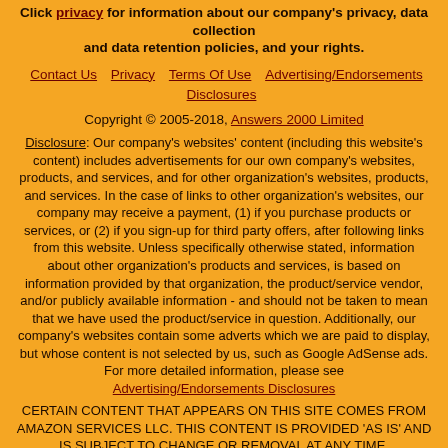Click privacy for information about our company's privacy, data collection and data retention policies, and your rights.
Contact Us  Privacy  Terms Of Use  Advertising/Endorsements Disclosures
Copyright © 2005-2018, Answers 2000 Limited
Disclosure: Our company's websites' content (including this website's content) includes advertisements for our own company's websites, products, and services, and for other organization's websites, products, and services. In the case of links to other organization's websites, our company may receive a payment, (1) if you purchase products or services, or (2) if you sign-up for third party offers, after following links from this website. Unless specifically otherwise stated, information about other organization's products and services, is based on information provided by that organization, the product/service vendor, and/or publicly available information - and should not be taken to mean that we have used the product/service in question. Additionally, our company's websites contain some adverts which we are paid to display, but whose content is not selected by us, such as Google AdSense ads. For more detailed information, please see Advertising/Endorsements Disclosures
CERTAIN CONTENT THAT APPEARS ON THIS SITE COMES FROM AMAZON SERVICES LLC. THIS CONTENT IS PROVIDED 'AS IS' AND IS SUBJECT TO CHANGE OR REMOVAL AT ANY TIME. CERTAIN CONTENT THAT APPEARS ON THIS SITE,COMES FROM AMAZON EU S.à r.l. THIS CONTENT IS PROVIDED 'AS IS' AND IS SUBJECT TO CHANGE OR REMOVAL AT ANY TIME.
In Association With Amazon.com